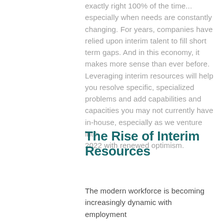exactly right 100% of the time... especially when needs are constantly changing. For years, companies have relied upon interim talent to fill short term gaps. And in this economy, it makes more sense than ever before. Leveraging interim resources will help you resolve specific, specialized problems and add capabilities and capacities you may not currently have in-house, especially as we venture into 2022 with renewed optimism.
The Rise of Interim Resources
The modern workforce is becoming increasingly dynamic with employment